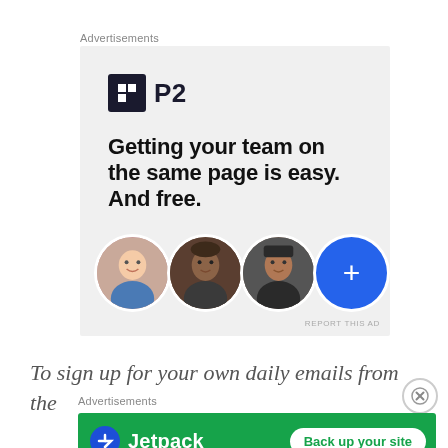Advertisements
[Figure (screenshot): P2 advertisement banner with logo, tagline 'Getting your team on the same page is easy. And free.' and three avatar circles plus a blue plus button]
To sign up for your own daily emails from the
Advertisements
[Figure (screenshot): Jetpack advertisement banner with green background, Jetpack logo and 'Back up your site' button]